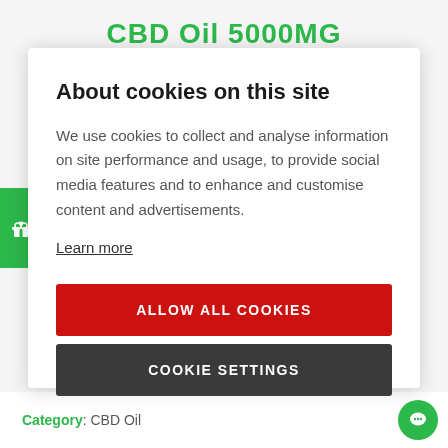CBD Oil 5000MG
About cookies on this site
We use cookies to collect and analyse information on site performance and usage, to provide social media features and to enhance and customise content and advertisements.
Learn more
ALLOW ALL COOKIES
COOKIE SETTINGS
Category: CBD Oil